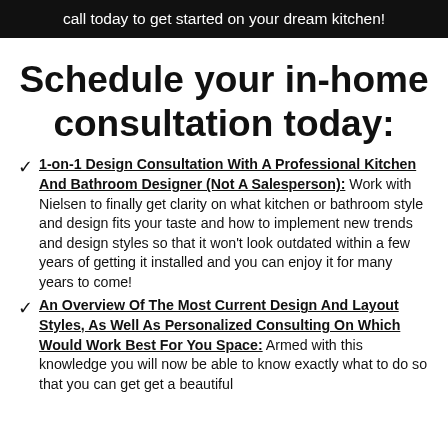call today to get started on your dream kitchen!
Schedule your in-home consultation today:
1-on-1 Design Consultation With A Professional Kitchen And Bathroom Designer (Not A Salesperson): Work with Nielsen to finally get clarity on what kitchen or bathroom style and design fits your taste and how to implement new trends and design styles so that it won't look outdated within a few years of getting it installed and you can enjoy it for many years to come!
An Overview Of The Most Current Design And Layout Styles, As Well As Personalized Consulting On Which Would Work Best For You Space: Armed with this knowledge you will now be able to know exactly what to do so that you can get get a beautiful